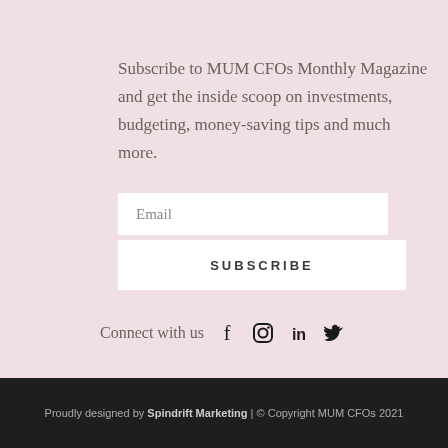Subscribe to MUM CFOs Monthly Magazine and get the inside scoop on investments, budgeting, money-saving tips and much more.
Email
SUBSCRIBE
Connect with us
Proudly designed by Spindrift Marketing | © Copyright MUM CFOs 2021